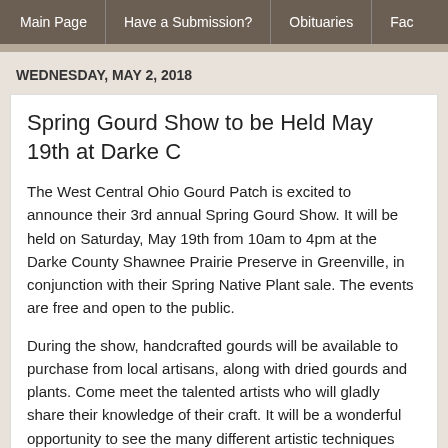Main Page | Have a Submission? | Obituaries | Fac...
WEDNESDAY, MAY 2, 2018
Spring Gourd Show to be Held May 19th at Darke C...
The West Central Ohio Gourd Patch is excited to announce their 3rd annual Spring Gourd Show. It will be held on Saturday, May 19th from 10am to 4pm at the Darke County Shawnee Prairie Preserve in Greenville, in conjunction with their Spring Native Plant sale. The events are free and open to the public.
During the show, handcrafted gourds will be available to purchase from local artisans, along with dried gourds and plants. Come meet the talented artists who will gladly share their knowledge of their craft. It will be a wonderful opportunity to see the many different artistic techniques that can be implemented to a gourd. Some carve and wood burn them, while others may cut, paint or dye them different colors, or use a combination of techniques to create a...